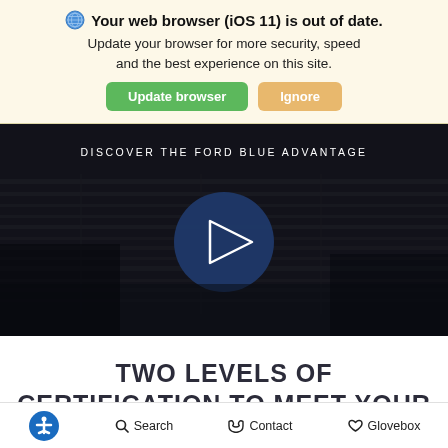Your web browser (iOS 11) is out of date. Update your browser for more security, speed and the best experience on this site.
Update browser | Ignore
[Figure (screenshot): Dark video thumbnail showing a Ford car with 'DISCOVER THE FORD BLUE ADVANTAGE' text overlay and a play button circle in the center]
TWO LEVELS OF CERTIFICATION TO MEET YOUR
Accessibility Search Contact Glovebox